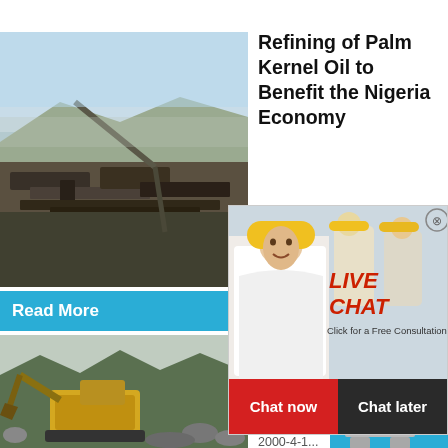[Figure (photo): Industrial site with machinery/metal scrap pile and crane equipment in rocky desert environment]
Refining of Palm Kernel Oil to Benefit the Nigeria Economy
...
2020-10-8    Refining of Pa...
Read More
hour online
[Figure (photo): Live Chat popup overlay with woman in white blouse and construction workers in yellow hard hats in background. Text: LIVE CHAT, Click for a Free Consultation]
Chat now
Chat later
[Figure (photo): Excavator and heavy machinery at a mining or demolition site with rocks and debris]
Techno assess oil proc n
...
2000-4-1...
[Figure (photo): Industrial crusher/grinding machine (grey metal box with red wheel) on blue background]
Click me to chat>>
Enquiry
limingjlmofen